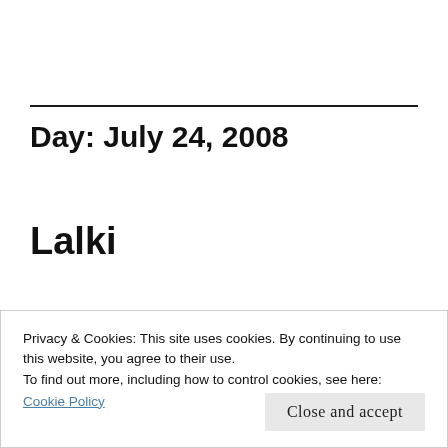Day: July 24, 2008
Lalki
[Figure (photo): Movie/book cover image with red and dark tones, partially visible behind the cookie consent banner]
Privacy & Cookies: This site uses cookies. By continuing to use this website, you agree to their use.
To find out more, including how to control cookies, see here:
Cookie Policy
Close and accept